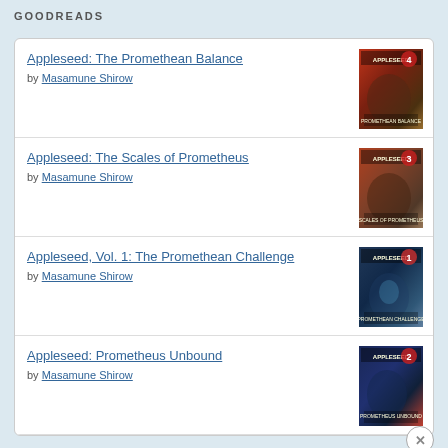GOODREADS
Appleseed: The Promethean Balance by Masamune Shirow
Appleseed: The Scales of Prometheus by Masamune Shirow
Appleseed, Vol. 1: The Promethean Challenge by Masamune Shirow
Appleseed: Prometheus Unbound by Masamune Shirow
Advertisements
[Figure (illustration): Macy's advertisement banner: red background with woman's face and lips, text reading KISS BORING LIPS GOODBYE, SHOP NOW button, and Macy's star logo]